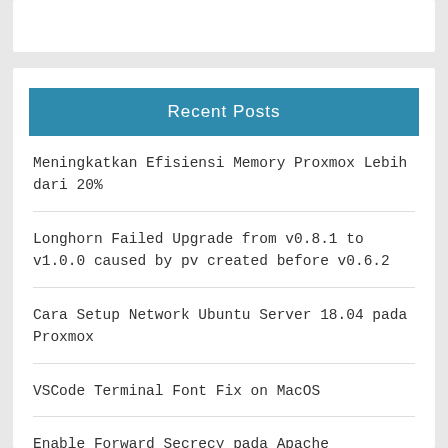Recent Posts
Meningkatkan Efisiensi Memory Proxmox Lebih dari 20%
Longhorn Failed Upgrade from v0.8.1 to v1.0.0 caused by pv created before v0.6.2
Cara Setup Network Ubuntu Server 18.04 pada Proxmox
VSCode Terminal Font Fix on MacOS
Enable Forward Secrecy pada Apache